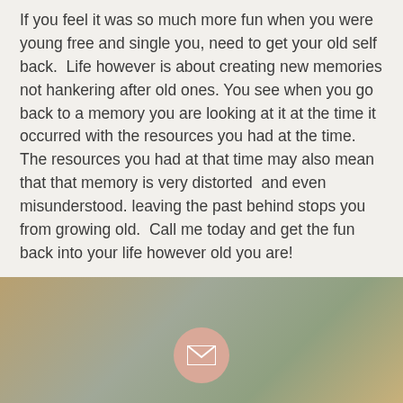If you feel it was so much more fun when you were young free and single you, need to get your old self back.  Life however is about creating new memories not hankering after old ones. You see when you go back to a memory you are looking at it at the time it occurred with the resources you had at the time. The resources you had at that time may also mean that that memory is very distorted  and even misunderstood. leaving the past behind stops you from growing old.  Call me today and get the fun back into your life however old you are!
[Figure (illustration): A gradient background section at the bottom of the page with warm brown, grey-green, and golden-tan tones, containing a circular email icon button (dusty rose/salmon colored circle with a white envelope icon).]